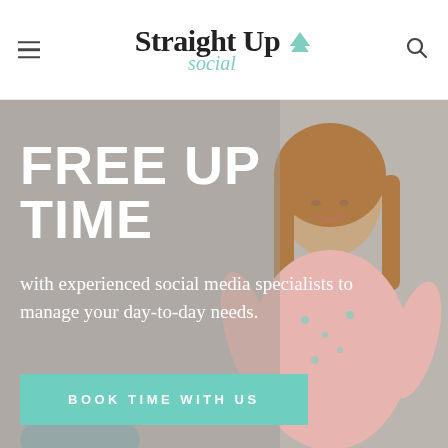Straight Up Social
[Figure (photo): Hero section with smiling woman with brown hair wearing a floral pink and teal dress, against a gray background]
FREE UP TIME
with experienced social media specialists to manage your day-to-day needs.
BOOK TIME WITH US